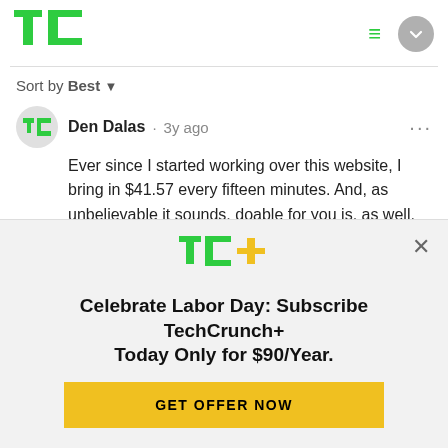[Figure (logo): TechCrunch TC logo in green]
Sort by Best ▾
Den Dalas · 3y ago
Ever since I started working over this website, I bring in $41.57 every fifteen minutes. And, as unbelievable it sounds, doable for you is, as well, cause I've never had a job simple as this one. Anyone can do it, with no exception. I sugg…See more
[Figure (logo): TechCrunch TC+ logo in green and yellow]
Celebrate Labor Day: Subscribe TechCrunch+ Today Only for $90/Year.
GET OFFER NOW